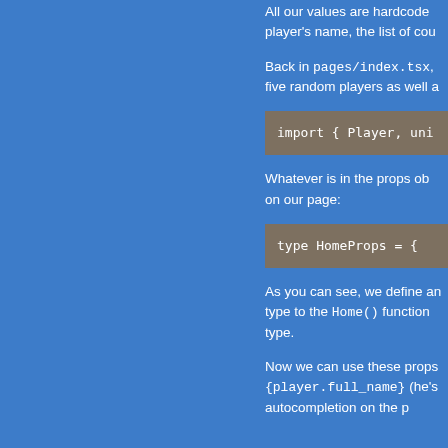All our values are hardcoded... player's name, the list of cou...
Back in pages/index.tsx, five random players as well a...
import { Player, uni...
Whatever is in the props ob... on our page:
type HomeProps = {
As you can see, we define an... type to the Home() function... type.
Now we can use these props... {player.full_name} (he's... autocompletion on the p...